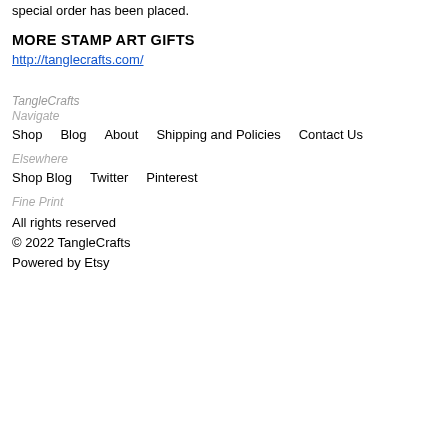special order has been placed.
MORE STAMP ART GIFTS
http://tanglecrafts.com/
TangleCrafts
Navigate
Shop
Blog
About
Shipping and Policies
Contact Us
Elsewhere
Shop Blog
Twitter
Pinterest
Fine Print
All rights reserved
© 2022 TangleCrafts
Powered by Etsy